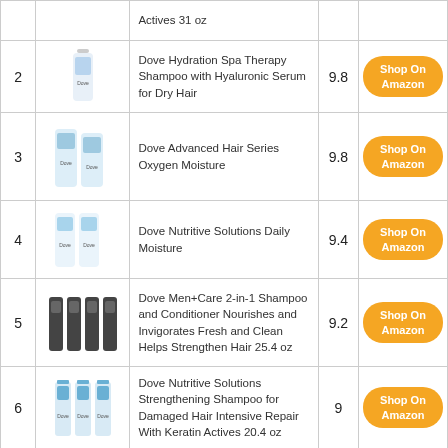| # | Image | Product Name | Score | Action |
| --- | --- | --- | --- | --- |
|  |  | Actives 31 oz |  | Shop On Amazon |
| 2 |  | Dove Hydration Spa Therapy Shampoo with Hyaluronic Serum for Dry Hair | 9.8 | Shop On Amazon |
| 3 |  | Dove Advanced Hair Series Oxygen Moisture | 9.8 | Shop On Amazon |
| 4 |  | Dove Nutritive Solutions Daily Moisture | 9.4 | Shop On Amazon |
| 5 |  | Dove Men+Care 2-in-1 Shampoo and Conditioner Nourishes and Invigorates Fresh and Clean Helps Strengthen Hair 25.4 oz | 9.2 | Shop On Amazon |
| 6 |  | Dove Nutritive Solutions Strengthening Shampoo for Damaged Hair Intensive Repair With Keratin Actives 20.4 oz | 9 | Shop On Amazon |
| 7 |  | Dove Color Care Shampoo & Conditioner 12oz Combo SET PACKAGE MAY VARY | 9 | Shop On Amazon |